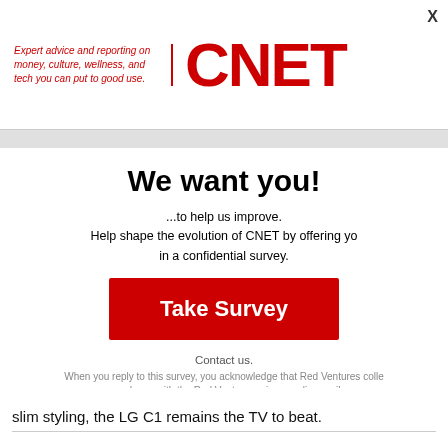Expert advice and reporting on money, culture, wellness, and tech you can put to good use. CNET
We want you!
...to help us improve. Help shape the evolution of CNET by offering your opinions in a confidential survey.
Take Survey
Contact us. When you reply to this survey, you acknowledge that Red Ventures collects your data in accordance with the Red Ventures privacy policy availa...
slim styling, the LG C1 remains the TV to beat.